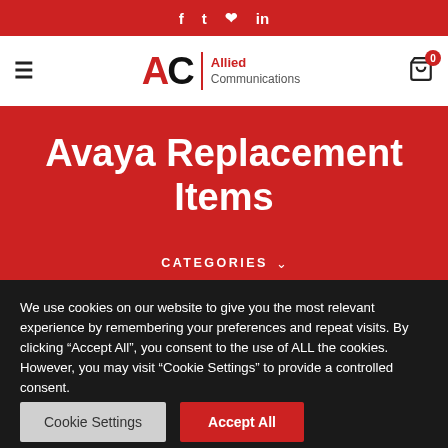f  t  p  in
[Figure (logo): Allied Communications logo with AC monogram and red divider]
Avaya Replacement Items
CATEGORIES ∨
We use cookies on our website to give you the most relevant experience by remembering your preferences and repeat visits. By clicking "Accept All", you consent to the use of ALL the cookies. However, you may visit "Cookie Settings" to provide a controlled consent.
Cookie Settings  Accept All